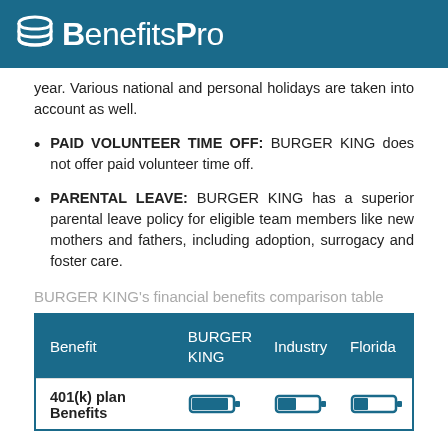BenefitsPro
year. Various national and personal holidays are taken into account as well.
PAID VOLUNTEER TIME OFF: BURGER KING does not offer paid volunteer time off.
PARENTAL LEAVE: BURGER KING has a superior parental leave policy for eligible team members like new mothers and fathers, including adoption, surrogacy and foster care.
BURGER KING's financial benefits comparison table
| Benefit | BURGER KING | Industry | Florida |
| --- | --- | --- | --- |
| 401(k) plan Benefits |  |  |  |